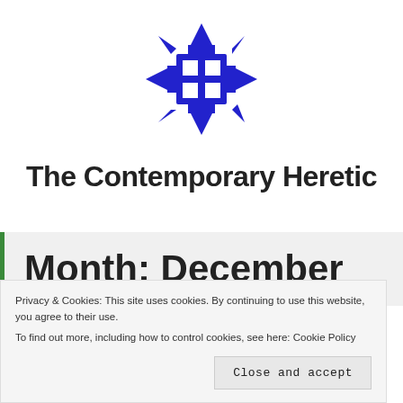[Figure (logo): Blue geometric snowflake/cross logo with arrow-like points and two white squares in center]
The Contemporary Heretic
Month: December
Privacy & Cookies: This site uses cookies. By continuing to use this website, you agree to their use.
To find out more, including how to control cookies, see here: Cookie Policy
Close and accept